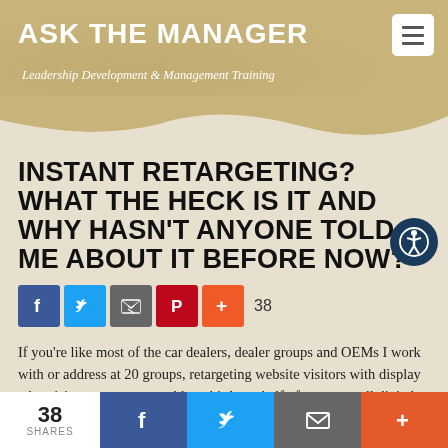ASK THE MANAGER
Leadership Development & Management Training
INSTANT RETARGETING? WHAT THE HECK IS IT AND WHY HASN'T ANYONE TOLD ME ABOUT IT BEFORE NOW?
[Figure (infographic): Social share buttons: Facebook, Twitter, Email, Pinterest, Plus. Share count: 38]
If you're like most of the car dealers, dealer groups and OEMs I work with or address at 20 groups, retargeting website visitors with display advertising consumes roughly a third to a half of your overall digital marketing budget. Moreover, most of the Dealers and General Managers
38 SHARES | Facebook | Twitter | Email | +